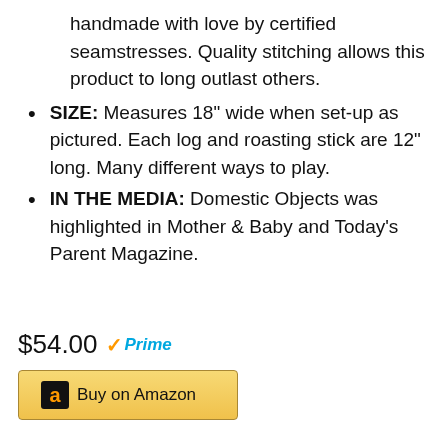handmade with love by certified seamstresses. Quality stitching allows this product to long outlast others.
SIZE: Measures 18" wide when set-up as pictured. Each log and roasting stick are 12" long. Many different ways to play.
IN THE MEDIA: Domestic Objects was highlighted in Mother & Baby and Today's Parent Magazine.
$54.00 Prime
Buy on Amazon